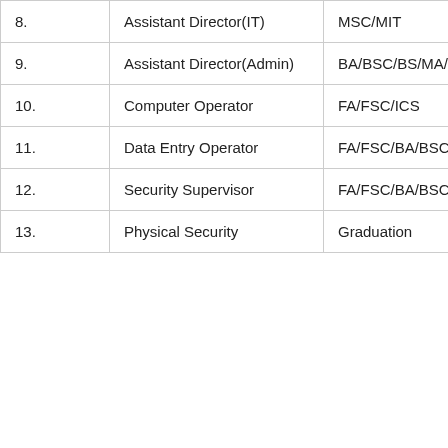| No. | Position | Qualification |
| --- | --- | --- |
| 8. | Assistant Director(IT) | MSC/MIT |
| 9. | Assistant Director(Admin) | BA/BSC/BS/MA/MSC/ MS |
| 10. | Computer Operator | FA/FSC/ICS |
| 11. | Data Entry Operator | FA/FSC/BA/BSC/BS/ |
| 12. | Security Supervisor | FA/FSC/BA/BSC |
| 13. | Physical Security | Graduation |